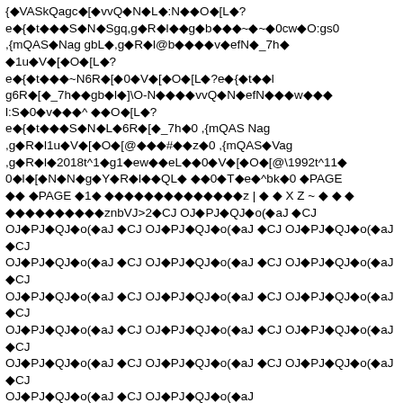{◆VASkQagc◆[◆vvQ◆N◆L◆:N◆◆O◆[L◆? e◆{◆t◆◆◆S◆N◆Sgq,g◆R◆l◆◆g◆b◆◆◆~◆~◆0cw◆O:gs0 ,{mQAS◆Nag gbL◆,g◆R◆l@b◆◆◆◆v◆efN◆_7h◆ ◆1u◆V◆[◆O◆[L◆? e◆{◆t◆◆◆~N6R◆[◆0◆V◆[◆O◆[L◆?e◆{◆t◆◆l g6R◆[◆_7h◆◆gb◆l◆]\O-N◆◆◆◆vvQ◆N◆efN◆◆◆w◆◆◆ l:S◆0◆v◆◆◆^ ◆◆O◆[L◆? e◆{◆t◆◆◆S◆N◆L◆6R◆[◆_7h◆0 ,{mQAS Nag ,g◆R◆l1u◆V◆[◆O◆[@◆◆◆#◆◆z◆0 ,{mQAS◆Vag ,g◆R◆l◆2018t^1◆g1◆ew◆◆eL◆◆0◆V◆[◆O◆[@\1992t^11◆ 0◆l◆[◆N◆N◆g◆Y◆R◆l◆◆QL◆ ◆◆0◆T◆e◆^bk◆0 ◆PAGE ◆◆ ◆PAGE ◆1◆ ◆◆◆◆◆◆◆◆◆◆◆◆◆◆◆◆◆z | ◆ ◆ X Z ~ ◆ ◆ ◆ ◆◆◆◆◆◆◆◆◆◆znbVJ>2◆CJ OJ◆PJ◆QJ◆o(◆aJ ◆CJ OJ◆PJ◆QJ◆o(◆aJ ◆CJ OJ◆PJ◆QJ◆o(◆aJ ◆CJ OJ◆PJ◆QJ◆o(◆aJ ◆CJ OJ◆PJ◆QJ◆o(◆aJ ◆CJ OJ◆PJ◆QJ◆o(◆aJ ◆CJ OJ◆PJ◆QJ◆o(◆aJ ◆CJ OJ◆PJ◆QJ◆o(◆aJ ◆CJ OJ◆PJ◆QJ◆o(◆aJ ◆CJ OJ◆PJ◆QJ◆o(◆aJ ◆CJ OJ◆PJ◆QJ◆o(◆aJ ◆CJ OJ◆PJ◆QJ◆o(◆aJ ◆CJ OJ◆PJ◆QJ◆o(◆aJ ◆CJ OJ◆PJ◆QJ◆o(◆aJ ◆CJ OJ◆PJ◆QJ◆o(◆aJ ◆CJ OJ◆PJ◆QJ◆o(◆aJ ◆o(◆◆CJ,OJ◆PJ◆QJ◆aJ,◆CJ,OJ◆PJ◆QJ◆o(◆aJ,◆◆ ◆ ◆ p◆r◆◆◆ ◆◆V◆X◆◆~◆◆◆◆◆◆◆◆ ◆ Z ◆◆◆◆÷◆◆◆◆{ocWK?3◆CJ OJ◆PJ◆QJ◆o(◆aJ ◆CJ OJ◆PJ◆QJ◆o(◆aJ ◆CJ OJ◆PJ◆QJ◆o(◆aJ ◆CJ OJ◆PJ◆QJ◆o(◆aJ ◆CJ OJ◆PJ◆QJ◆o(◆aJ ◆CJ OJ◆PJ◆QJ◆o(◆aJ ◆CJ OJ◆PJ◆QJ◆o(◆aJ ◆CJ OJ◆PJ◆QJ◆o(◆aJ ◆CJ OJ◆PJ◆QJ◆o(◆aJ ◆CJ OJ◆PJ◆QJ◆o(◆aJ ◆CJ OJ◆PJ◆QJ◆o(◆aJ ◆CJ OJ◆PJ◆QJ◆o(◆aJ ◆CJ OJ◆PJ◆QJ◆o(◆aJ ◆CJ OJ◆PJ◆QJ◆o(◆aJ ◆CJ OJ◆PJ◆QJ◆o(◆aJ ◆CJ